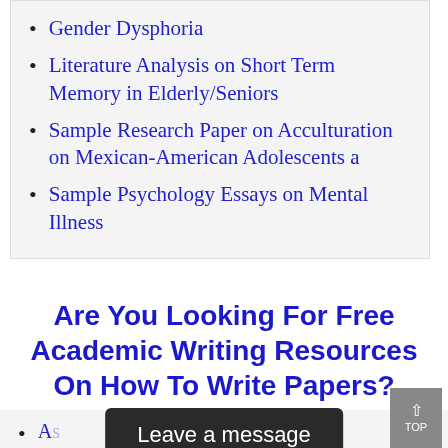Gender Dysphoria
Literature Analysis on Short Term Memory in Elderly/Seniors
Sample Research Paper on Acculturation on Mexican-American Adolescents a
Sample Psychology Essays on Mental Illness
Are You Looking For Free Academic Writing Resources On How To Write Papers?
A… Get
Leave a message